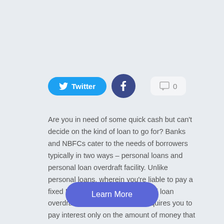[Figure (other): Social sharing buttons row: Twitter button (blue pill), Facebook button (dark blue circle), comment count button (light gray rounded rectangle with comment icon and '0')]
Are you in need of some quick cash but can't decide on the kind of loan to go for? Banks and NBFCs cater to the needs of borrowers typically in two ways – personal loans and personal loan overdraft facility. Unlike personal loans, wherein you're liable to pay a fixed EMI every month, a personal loan overdraft facility is different. It requires you to pay interest only on the amount of money that you utilize and for the period for which you borrow it.
[Figure (other): Learn More button — blue-purple rounded rectangle]